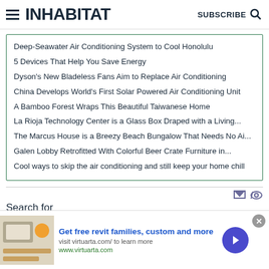INHABITAT | SUBSCRIBE
Deep-Seawater Air Conditioning System to Cool Honolulu
5 Devices That Help You Save Energy
Dyson's New Bladeless Fans Aim to Replace Air Conditioning
China Develops World's First Solar Powered Air Conditioning Unit
A Bamboo Forest Wraps This Beautiful Taiwanese Home
La Rioja Technology Center is a Glass Box Draped with a Living...
The Marcus House is a Breezy Beach Bungalow That Needs No Ai...
Galen Lobby Retrofitted With Colorful Beer Crate Furniture in...
Cool ways to skip the air conditioning and still keep your home chill
Search for
[Figure (infographic): Advertisement banner: Get free revit families, custom and more. Visit virtuarta.com/ to learn more. www.virtuarta.com]